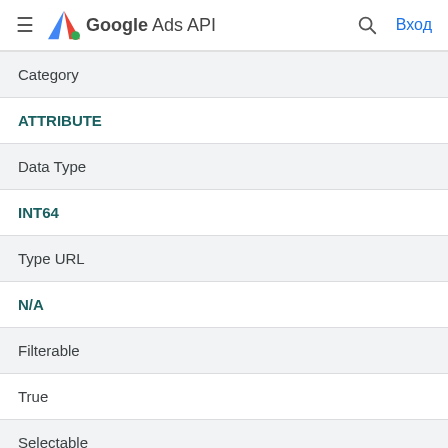Google Ads API — Вход
| Category | Value |
| --- | --- |
| Category | ATTRIBUTE |
| Data Type | INT64 |
| Type URL | N/A |
| Filterable | True |
| Selectable | True |
| Sortable |  |